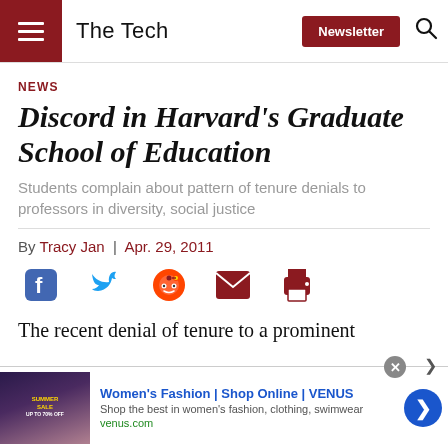The Tech
NEWS
Discord in Harvard's Graduate School of Education
Students complain about pattern of tenure denials to professors in diversity, social justice
By Tracy Jan | Apr. 29, 2011
[Figure (infographic): Social sharing icons: Facebook, Twitter, Reddit, Email, Print]
The recent denial of tenure to a prominent
[Figure (infographic): Advertisement banner: Women's Fashion | Shop Online | VENUS. Shop the best in women's fashion, clothing, swimwear. venus.com]